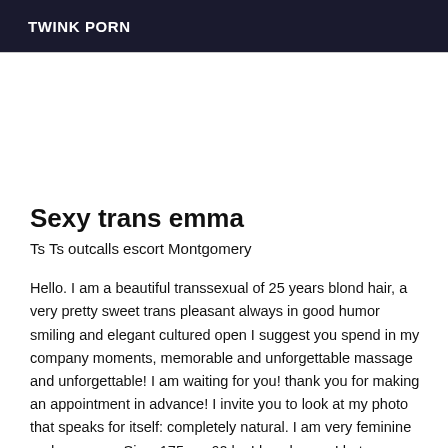TWINK PORN
Sexy trans emma
Ts Ts outcalls escort Montgomery
Hello. I am a beautiful transsexual of 25 years blond hair, a very pretty sweet trans pleasant always in good humor smiling and elegant cultured open I suggest you spend in my company moments, memorable and unforgettable massage and unforgettable! I am waiting for you! thank you for making an appointment in advance! I invite you to look at my photo that speaks for itself: completely natural. I am very feminine and very sexy Size: 175 cm 60 kg I love humor I hate vulgarity